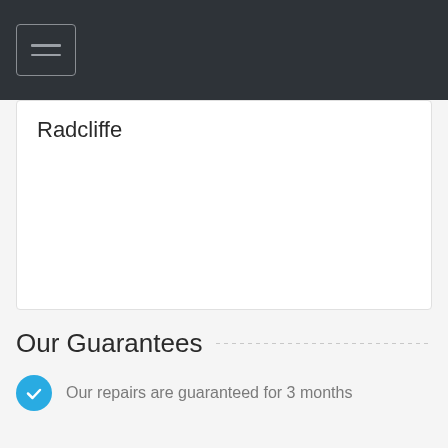Radcliffe
Our Guarantees
Our repairs are guaranteed for 3 months